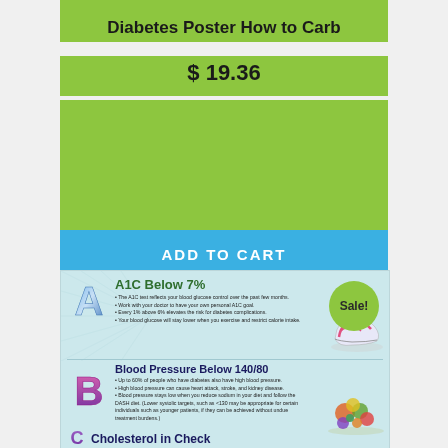Diabetes Poster How to Carb
$ 19.36
ADD TO CART
[Figure (infographic): Diabetes ABCs infographic poster preview showing A1C Below 7%, Blood Pressure Below 140/80, and Cholesterol in Check sections with bullet points, illustrated letters A, B, C, a sneaker image, and a vegetables/food image. A green 'Sale!' badge appears in the top right corner.]